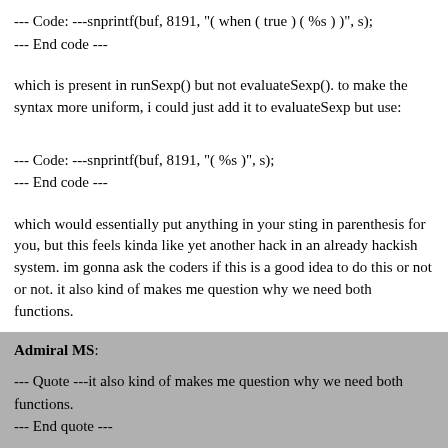--- Code: ---snprintf(buf, 8191, "( when ( true ) ( %s ) )", s);
--- End code ---
which is present in runSexp() but not evaluateSexp(). to make the syntax more uniform, i could just add it to evaluateSexp but use:
--- Code: ---snprintf(buf, 8191, "( %s )", s);
--- End code ---
which would essentially put anything in your sting in parenthesis for you, but this feels kinda like yet another hack in an already hackish system. im gonna ask the coders if this is a good idea to do this or not or not. it also kind of makes me question why we need both functions.
Admiral MS:
--- Quote ---it also kind of makes me question why we need both functions.
--- End quote ---
I need both evaluateSEXP() and runSEXP() because what they return is completely different. Evaluate does return whether the